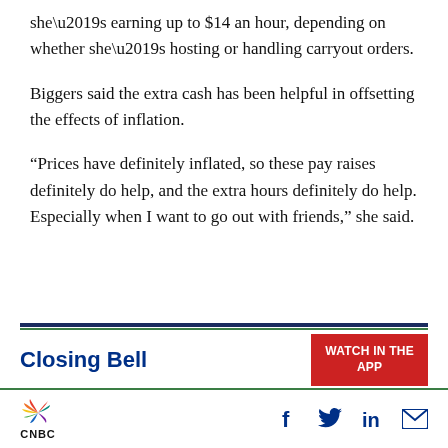she’s earning up to $14 an hour, depending on whether she’s hosting or handling carryout orders.
Biggers said the extra cash has been helpful in offsetting the effects of inflation.
“Prices have definitely inflated, so these pay raises definitely do help, and the extra hours definitely do help. Especially when I want to go out with friends,” she said.
Closing Bell
WATCH IN THE APP
[Figure (logo): CNBC peacock logo with colorful feathers and CNBC text below]
[Figure (infographic): Social media icons: Facebook, Twitter, LinkedIn, Email]